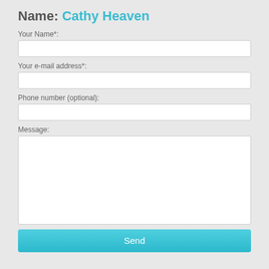Name: Cathy Heaven
Your Name*:
Your e-mail address*:
Phone number (optional):
Message:
Send